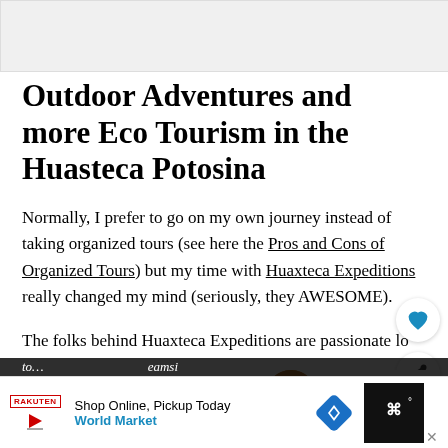[Figure (photo): Top image placeholder area (gray background)]
Outdoor Adventures and more Eco Tourism in the Huasteca Potosina
Normally, I prefer to go on my own journey instead of taking organized tours (see here the Pros and Cons of Organized Tours) but my time with Huaxteca Expeditions really changed my mind (seriously, they AWESOME).
The folks behind Huaxteca Expeditions are passionate lovers of the Huasteca Potosina and share the best eco to...
[Figure (photo): WHAT'S NEXT thumbnail - The Best Riads of... article preview with dog photo]
[Figure (screenshot): Bottom advertisement bar: Shop Online, Pickup Today - World Market, with play icon, brand logo, blue diamond navigation icon, and dark right section]